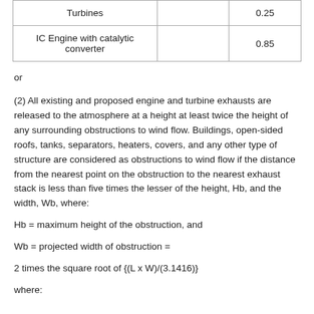| Turbines |  | 0.25 |
| IC Engine with catalytic converter |  | 0.85 |
or
(2) All existing and proposed engine and turbine exhausts are released to the atmosphere at a height at least twice the height of any surrounding obstructions to wind flow. Buildings, open-sided roofs, tanks, separators, heaters, covers, and any other type of structure are considered as obstructions to wind flow if the distance from the nearest point on the obstruction to the nearest exhaust stack is less than five times the lesser of the height, Hb, and the width, Wb, where:
Hb = maximum height of the obstruction, and
Wb = projected width of obstruction =
2 times the square root of {(L x W)/(3.1416)}
where: